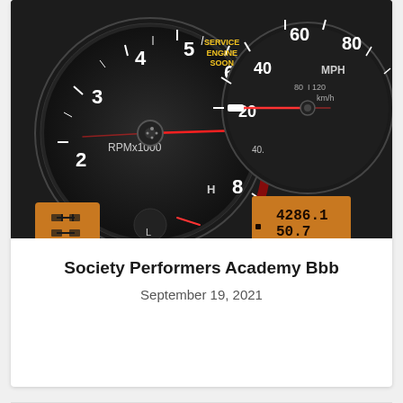[Figure (photo): Car dashboard showing tachometer (RPMx1000) and speedometer (MPH/km/h). Tachometer needle near 0, Service Engine Soon warning light illuminated in yellow. Speedometer shows 0 MPH. Orange digital display shows odometer reading 4286.1 and trip 50.7. Temperature gauge and fuel gauge visible. 4WD indicator icon lit.]
Society Performers Academy Bbb
September 19, 2021